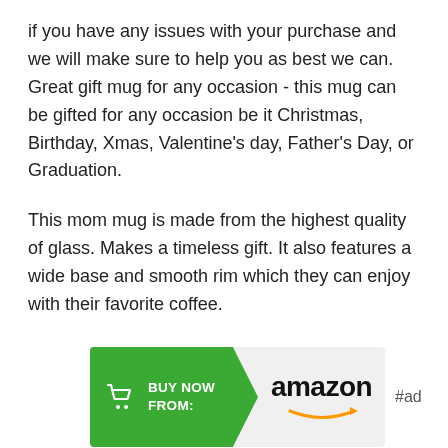if you have any issues with your purchase and we will make sure to help you as best we can. Great gift mug for any occasion - this mug can be gifted for any occasion be it Christmas, Birthday, Xmas, Valentine's day, Father's Day, or Graduation.
This mom mug is made from the highest quality of glass. Makes a timeless gift. It also features a wide base and smooth rim which they can enjoy with their favorite coffee.
[Figure (other): Amazon 'Buy Now From' button banner with green arrow-shaped left section containing shopping cart icon and 'BUY NOW FROM:' text, right section showing Amazon logo with orange arrow, and '#ad' text to the right]